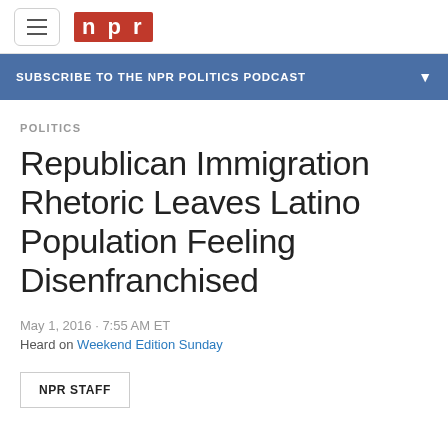NPR
SUBSCRIBE TO THE NPR POLITICS PODCAST
POLITICS
Republican Immigration Rhetoric Leaves Latino Population Feeling Disenfranchised
May 1, 2016 · 7:55 AM ET
Heard on Weekend Edition Sunday
NPR STAFF